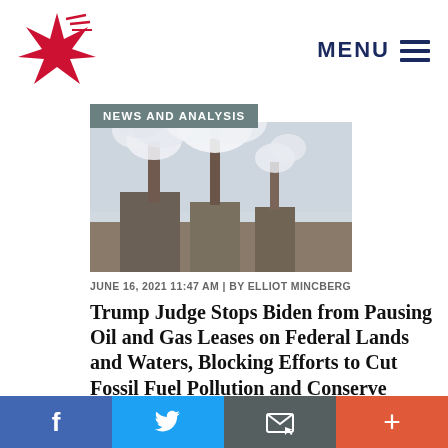[Figure (logo): Red star/asterisk logo for People For the American Way]
MENU ≡
NEWS AND ANALYSIS
[Figure (photo): Industrial power plant with tall smokestacks emitting large plumes of white smoke against a hazy sky]
JUNE 16, 2021 11:47 AM | BY ELLIOT MINCBERG
Trump Judge Stops Biden from Pausing Oil and Gas Leases on Federal Lands and Waters, Blocking Efforts to Cut Fossil Fuel Pollution and Conserve Public Lands ›
In yet another example of Trump judges interfering with Biden Administration initiatives,